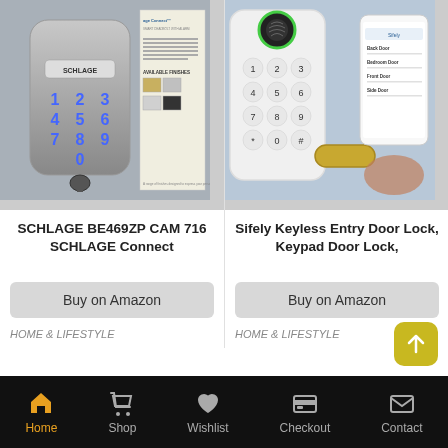[Figure (screenshot): Schlage BE469ZP CAM 716 smart deadbolt product image showing the Schlage Connect lock with keypad and keyhole, alongside a product brochure with available finishes]
[Figure (screenshot): Sifely Keyless Entry Door Lock with fingerprint keypad, handle, and a smartphone showing the app with multiple door entries listed]
SCHLAGE BE469ZP CAM 716 SCHLAGE Connect
Buy on Amazon
HOME & LIFESTYLE
Sifely Keyless Entry Door Lock, Keypad Door Lock,
Buy on Amazon
HOME & LIFESTYLE
Home  Shop  Wishlist  Checkout  Contact